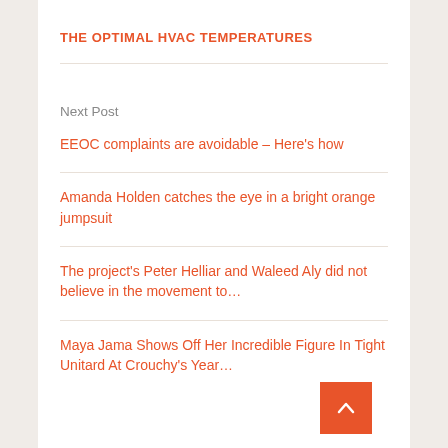THE OPTIMAL HVAC TEMPERATURES
Next Post
EEOC complaints are avoidable – Here's how
Amanda Holden catches the eye in a bright orange jumpsuit
The project's Peter Helliar and Waleed Aly did not believe in the movement to…
Maya Jama Shows Off Her Incredible Figure In Tight Unitard At Crouchy's Year…